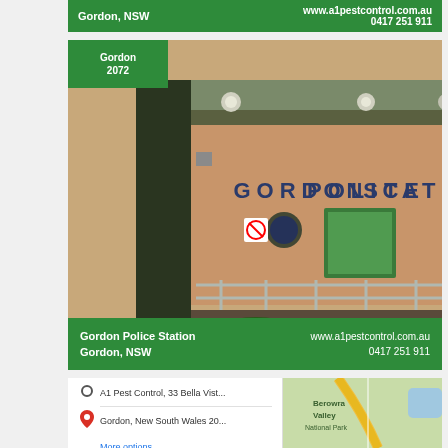Gordon Police Station Gordon, NSW   www.a1pestcontrol.com.au 0417 251 911
[Figure (photo): Exterior photograph of Gordon Police Station in Gordon, NSW. A tan/orange brick building with 'GORDON POLICE STATION' written on the wall. Green label overlay shows 'Gordon 2072'. Includes a no-smoking sign, police badge, metal railings, and bushes in the foreground.]
Gordon Police Station Gordon, NSW    www.a1pestcontrol.com.au 0417 251 911
[Figure (map): Google Maps screenshot showing a directions panel with: Origin: 'A1 Pest Control, 33 Bella Vist...' and Destination: 'Gordon, New South Wales 20...' with a 'More options' link. The map shows the Berowra Valley National Park area with a road (yellow) running through it.]